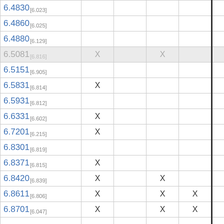| Value [bracket] | Col2 | Col3 | Col4 | Col5 | Col6 |
| --- | --- | --- | --- | --- | --- |
| 6.4830 [6.023] |  |  |  |  | X |
| 6.4860 [6.025] |  |  |  |  | X |
| 6.4880 [6.129] |  |  |  |  |  |
| 6.5081 [6.816] | X |  | X |  |  |
| 6.5151 [6.905] |  |  |  |  | X |
| 6.5831 [6.814] | X |  |  |  |  |
| 6.5931 [6.812] |  |  |  |  | X |
| 6.6331 [6.602] | X |  |  |  |  |
| 6.7201 [6.215] | X |  |  |  |  |
| 6.8301 [6.819] |  |  |  |  | X |
| 6.8371 [6.815] | X |  |  |  |  |
| 6.8420 [6.839] | X |  | X |  |  |
| 6.8611 [6.806] | X |  | X | X |  |
| 6.8701 [6.047] | X |  | X | X |  |
| ... |  |  |  |  |  |